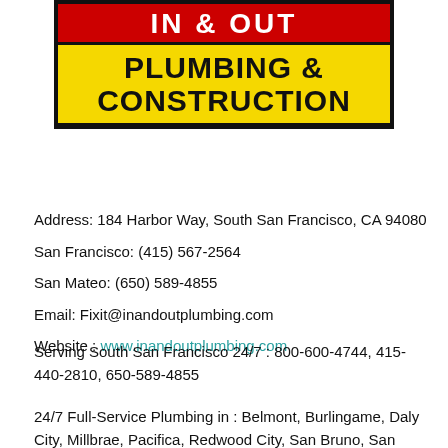[Figure (logo): In & Out Plumbing & Construction logo. Red banner with white bold text 'IN & OUT', below a yellow banner with black bold text 'PLUMBING & CONSTRUCTION', all on a black background.]
Address: 184 Harbor Way, South San Francisco, CA 94080
San Francisco: (415) 567-2564
San Mateo: (650) 589-4855
Email: Fixit@inandoutplumbing.com
Website : www.inandoutplumbing.com
Serving South San Francisco 24/7 : 800-600-4744, 415-440-2810, 650-589-4855
24/7 Full-Service Plumbing in : Belmont, Burlingame, Daly City, Millbrae, Pacifica, Redwood City, San Bruno, San Carlos,